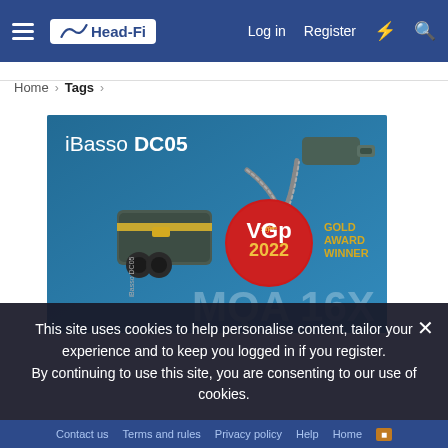Head-Fi — Log in  Register
Home > Tags >
[Figure (photo): iBasso DC05 product photo on teal/blue background with USB-C cable, VGP Gold Award Winner 2022 badge, text MQA 16X and ES9219C X2 partially visible]
This site uses cookies to help personalise content, tailor your experience and to keep you logged in if you register. By continuing to use this site, you are consenting to our use of cookies.
Contact us  Terms and rules  Privacy policy  Help  Home